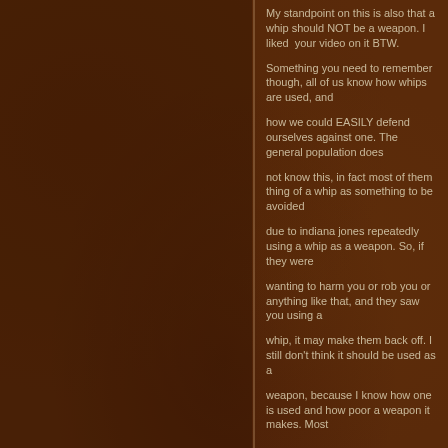My standpoint on this is also that a whip should NOT be a weapon. I liked  your video on it BTW.
Something you need to remember though, all of us know how whips are used, and
how we could EASILY defend ourselves against one. The general population does
not know this, in fact most of them thing of a whip as something to be avoided
due to indiana jones repeatedly using a whip as a weapon. So, if they were
wanting to harm you or rob you or anything like that, and they saw you using a
whip, it may make them back off. I still don't think it should be used as a
weapon, because I know how one is used and how poor a weapon it makes. Most